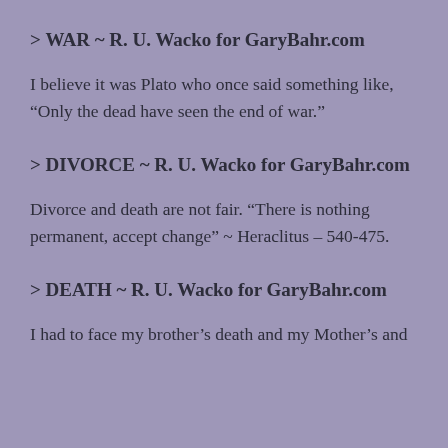> WAR  ~ R. U. Wacko for GaryBahr.com
I believe it was Plato who once said something like, “Only the dead have seen the end of war.”
> DIVORCE  ~ R. U. Wacko for GaryBahr.com
Divorce and death are not fair. “There is nothing permanent, accept change” ~ Heraclitus – 540-475.
> DEATH  ~ R. U. Wacko for GaryBahr.com
I had to face my brother’s death and my Mother’s and